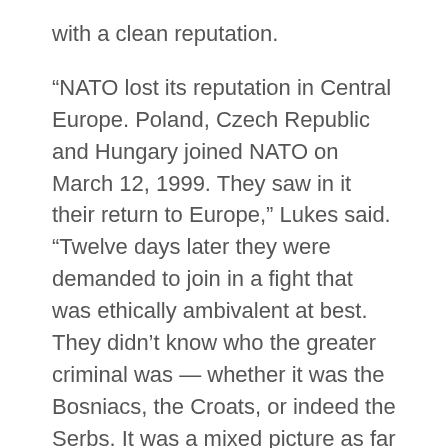with a clean reputation.
“NATO lost its reputation in Central Europe. Poland, Czech Republic and Hungary joined NATO on March 12, 1999. They saw in it their return to Europe,” Lukes said. “Twelve days later they were demanded to join in a fight that was ethically ambivalent at best. They didn’t know who the greater criminal was — whether it was the Bosniacs, the Croats, or indeed the Serbs. It was a mixed picture as far as they were concerned.”
Beyond the Headlines is a regular series at the Frederick S. Pardee School of Global Studies which seeks to cultivate informed conversations among experts and practitioners on issues that are